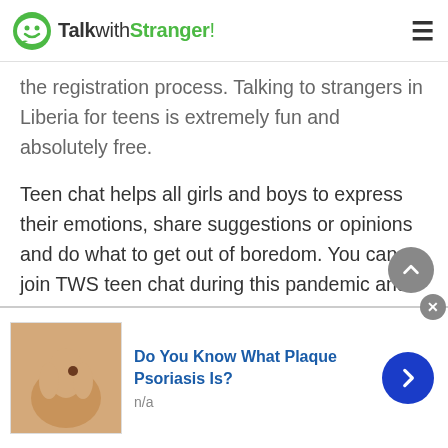TalkwithStranger!
the registration process. Talking to strangers in Liberia for teens is extremely fun and absolutely free.
Teen chat helps all girls and boys to express their emotions, share suggestions or opinions and do what to get out of boredom. You can join TWS teen chat during this pandemic and experience unlimited fun and enjoyment. So, would you like to join TWS and avail free online chat? Well, if you choose TWS then you would definitely make a wise decision. Of course, once you join the free teen chat and talk to
[Figure (infographic): Advertisement banner: image of a hand with a skin condition, text 'Do You Know What Plaque Psoriasis Is?' with n/a subtitle, a close button, and a right-arrow navigation button]